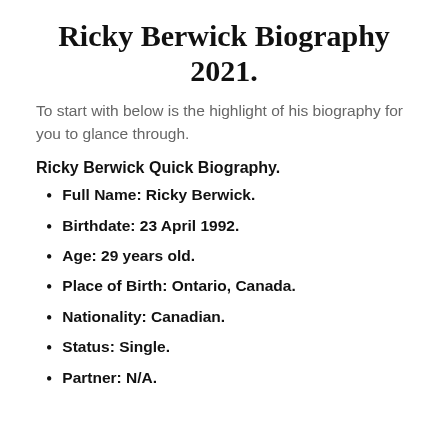Ricky Berwick Biography 2021.
To start with below is the highlight of his biography for you to glance through.
Ricky Berwick Quick Biography.
Full Name: Ricky Berwick.
Birthdate: 23 April 1992.
Age: 29 years old.
Place of Birth: Ontario, Canada.
Nationality: Canadian.
Status: Single.
Partner: N/A.